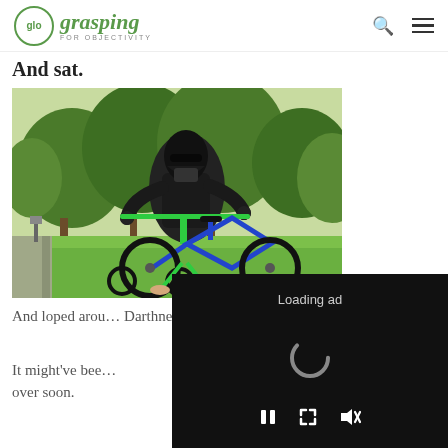glo grasping FOR OBJECTIVITY
And sat.
[Figure (photo): Person dressed as Darth Vader riding a small green children's bicycle with training wheels on a lawn with trees in background]
And loped arou... Darthness.
It might've bee... over soon.
[Figure (screenshot): Loading ad overlay with spinner and playback controls (pause, resize, mute) on black background]